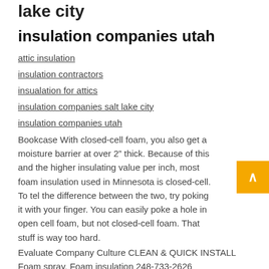lake city
insulation companies utah
attic insulation
insulation contractors
insualation for attics
insulation companies salt lake city
insulation companies utah
Bookcase With closed-cell foam, you also get a moisture barrier at over 2” thick. Because of this and the higher insulating value per inch, most foam insulation used in Minnesota is closed-cell. To tell the difference between the two, try poking it with your finger. You can easily poke a hole in open cell foam, but not closed-cell foam. That stuff is way too hard.
Evaluate Company Culture CLEAN & QUICK INSTALL Foam spray. Foam insulation 248-733-2626